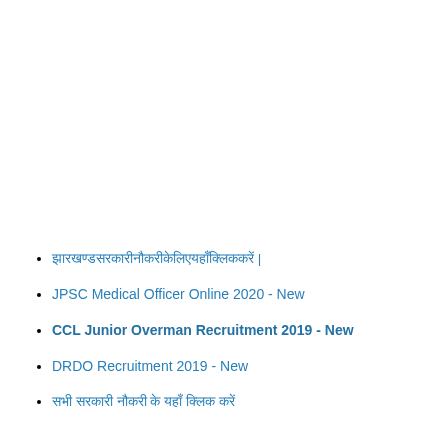झारखण्डसरकारीनौकरीकेलिएयहाँक्लिककरें |
JPSC Medical Officer Online 2020 - New
CCL Junior Overman Recruitment 2019 - New
DRDO Recruitment 2019 - New
सभी सरकारी नौकरी के यहाँ क्लिक करें